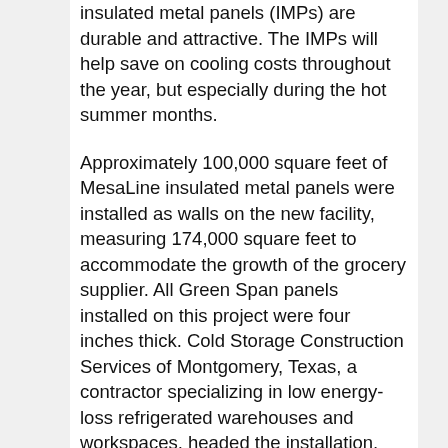insulated metal panels (IMPs) are durable and attractive. The IMPs will help save on cooling costs throughout the year, but especially during the hot summer months.
Approximately 100,000 square feet of MesaLine insulated metal panels were installed as walls on the new facility, measuring 174,000 square feet to accommodate the growth of the grocery supplier. All Green Span panels installed on this project were four inches thick. Cold Storage Construction Services of Montgomery, Texas, a contractor specializing in low energy-loss refrigerated warehouses and workspaces, headed the installation, completed in May 2016. The MesaLine panel from Green Span Profiles was chosen for the project with 26-gauge Galvalume interior and exterior metal substrates, in their Pearl White Thermal color.